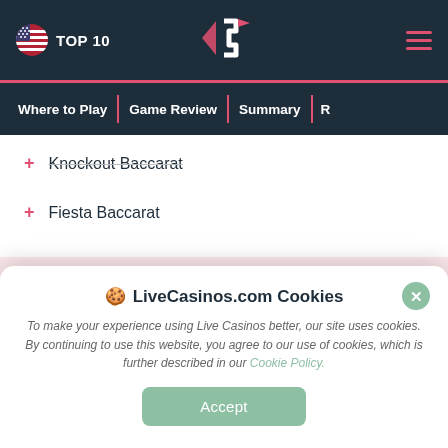TOP 10 | LiveCasinos.com logo | hamburger menu
Where to Play | Game Review | Summary | R...
Knockout Baccarat
Fiesta Baccarat
🍪 LiveCasinos.com Cookies
To make your experience using Live Casinos better, our site uses cookies. By continuing to use this website, you agree to our use of cookies, which is further described in our Cookie Policy.
Accept